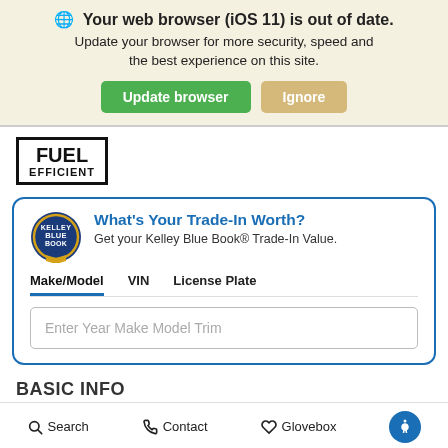🌐 Your web browser (iOS 11) is out of date. Update your browser for more security, speed and the best experience on this site. Update browser | Ignore
[Figure (logo): FUEL EFFICIENT badge - black outlined rectangular badge with text FUEL EFFICIENT in bold capitals]
What's Your Trade-In Worth? Get your Kelley Blue Book® Trade-In Value.
Make/Model  VIN  License Plate
Enter Year Make Model Trim
BASIC INFO
Search  Contact  Glovebox